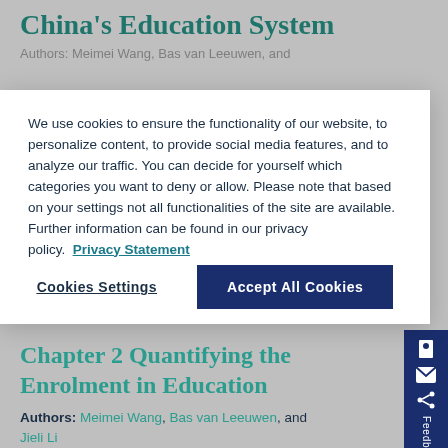China's Education System
Authors: Meimei Wang, Bas van Leeuwen, and
We use cookies to ensure the functionality of our website, to personalize content, to provide social media features, and to analyze our traffic. You can decide for yourself which categories you want to deny or allow. Please note that based on your settings not all functionalities of the site are available. Further information can be found in our privacy policy. Privacy Statement
Cookies Settings
Accept All Cookies
Chapter 2 Quantifying the Enrolment in Education
Authors: Meimei Wang, Bas van Leeuwen, and Jieli Li
Type:  Chapter
In: Education in China, ca. 1840-present